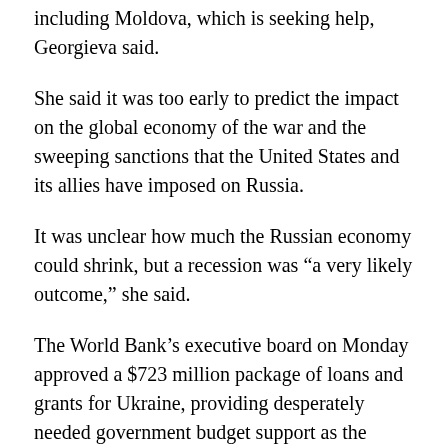including Moldova, which is seeking help, Georgieva said.
She said it was too early to predict the impact on the global economy of the war and the sweeping sanctions that the United States and its allies have imposed on Russia.
It was unclear how much the Russian economy could shrink, but a recession was “a very likely outcome,” she said.
The World Bank’s executive board on Monday approved a $723 million package of loans and grants for Ukraine, providing desperately needed government budget support as the country battles